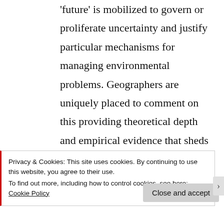'future' is mobilized to govern or proliferate uncertainty and justify particular mechanisms for managing environmental problems. Geographers are uniquely placed to comment on this providing theoretical depth and empirical evidence that sheds light on the commodification of nature whilst also contributing to the environmental debates...
Privacy & Cookies: This site uses cookies. By continuing to use this website, you agree to their use.
To find out more, including how to control cookies, see here: Cookie Policy